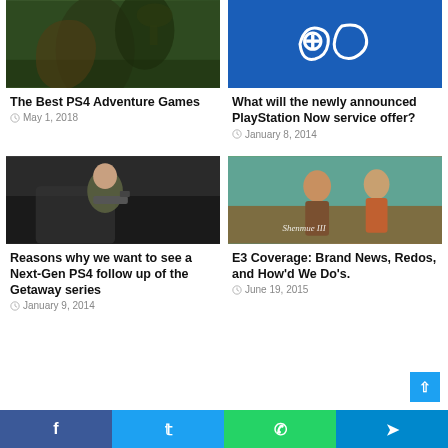[Figure (photo): PS4 adventure game screenshot showing jungle/creature scene]
The Best PS4 Adventure Games
May 1, 2018
[Figure (logo): PlayStation logo on blue background]
What will the newly announced PlayStation Now service offer?
January 8, 2014
[Figure (photo): The Getaway game screenshot showing man with gun in car]
Reasons why we want to see a Next-Gen PS4 follow up of the Getaway series
January 9, 2014
[Figure (photo): Shenmue III game cover with two characters]
E3 Coverage: Brand News, Redos, and How'd We Do's.
June 19, 2015